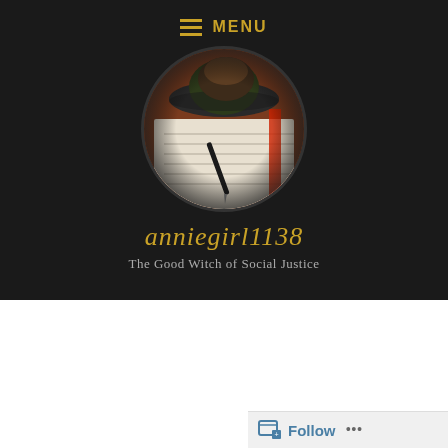≡ MENU
[Figure (photo): Circular avatar image showing a notebook with lined paper, a pen, and a dark hat on a wooden surface with warm tones]
anniegirl1138
The Good Witch of Social Justice
November 4, 2011
The Yoga Kid Stumps Me